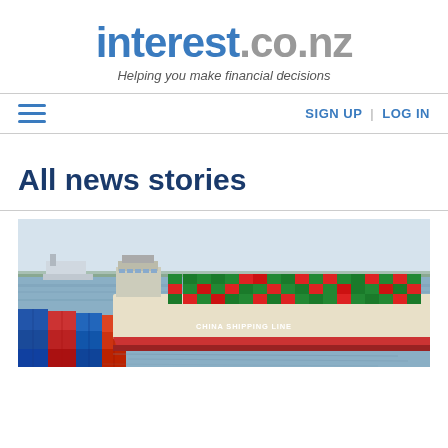interest.co.nz — Helping you make financial decisions
All news stories
[Figure (photo): A large China Shipping Line container ship loaded with colourful shipping containers docked at a busy port, with smaller vessels and industrial port infrastructure visible in the background.]